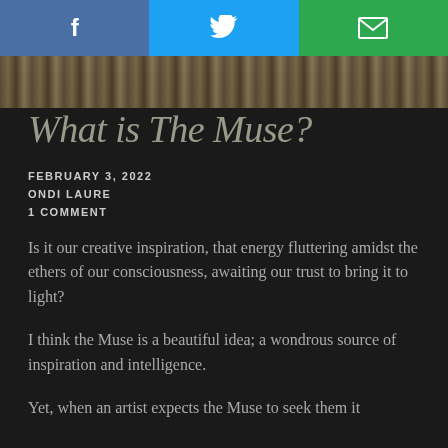[Figure (other): Social share buttons bar: Facebook (blue), Twitter (light blue), Email (green) with white icons]
[Figure (photo): Partial landscape photo showing dry grass or straw terrain]
What is The Muse?
FEBRUARY 3, 2022
ONDI LAURE
1 COMMENT
Is it our creative inspiration, that energy fluttering amidst the ethers of our consciousness, awaiting our trust to bring it to light?
I think the Muse is a beautiful idea; a wondrous source of inspiration and intelligence.
Yet, when an artist expects the Muse to seek them it